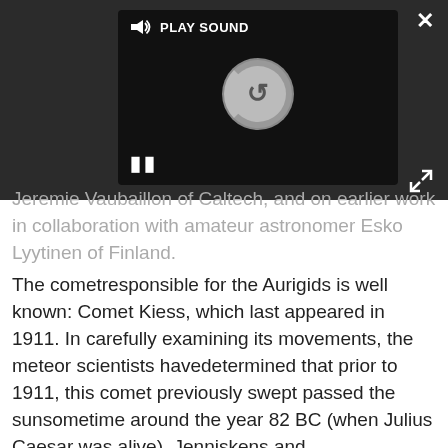[Figure (screenshot): Dark overlay panel showing a media player with 'PLAY SOUND' label, a loading spinner, and pause button (II). A close (X) button appears top-right and an expand arrows icon bottom-right of the dark region.]
Jeremie Vaubaillon of Caltech, and on earlier work in collaboration with amateur astronomer Esko Lyytinen of Finland.
The cometresponsible for the Aurigids is well known: Comet Kiess, which last appeared in 1911. In carefully examining its movements, the meteor scientists havedetermined that prior to 1911, this comet previously swept passed the sunsometime around the year 82 BC (when Julius Caesar was alive). Jenniskens and Vaubailloncalculated that a trail of dust released by the comet at that 82 BC visit willrun